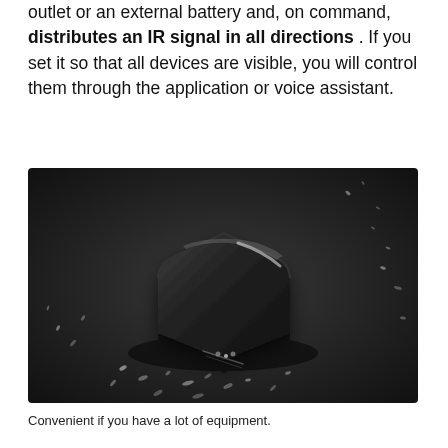outlet or an external battery and, on command, distributes an IR signal in all directions . If you set it so that all devices are visible, you will control them through the application or voice assistant.
[Figure (photo): Dark background product photo of a black rounded-square IR blaster device floating slightly above a surface, with light particle scatter effects around it. Monochromatic black and grey tones.]
Convenient if you have a lot of equipment.